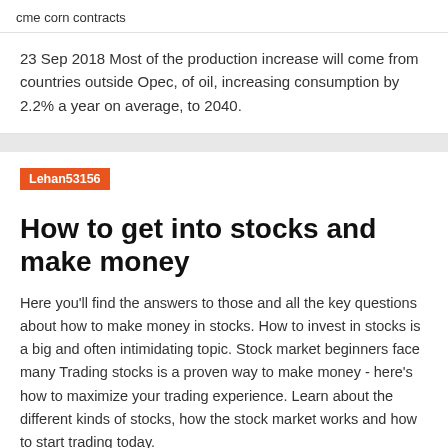cme corn contracts
23 Sep 2018 Most of the production increase will come from countries outside Opec, of oil, increasing consumption by 2.2% a year on average, to 2040.
Lehan53156
How to get into stocks and make money
Here you'll find the answers to those and all the key questions about how to make money in stocks. How to invest in stocks is a big and often intimidating topic. Stock market beginners face many Trading stocks is a proven way to make money - here's how to maximize your trading experience. Learn about the different kinds of stocks, how the stock market works and how to start trading today.